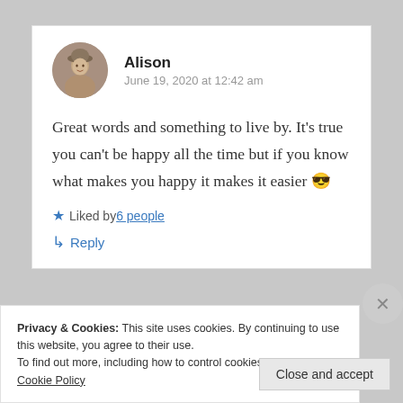[Figure (photo): Circular avatar photo of a woman wearing a hat, shown from shoulders up]
Alison
June 19, 2020 at 12:42 am
Great words and something to live by. It’s true you can’t be happy all the time but if you know what makes you happy it makes it easier 😎
★ Liked by 6 people
↳ Reply
Privacy & Cookies: This site uses cookies. By continuing to use this website, you agree to their use.
To find out more, including how to control cookies, see here: Cookie Policy
Close and accept